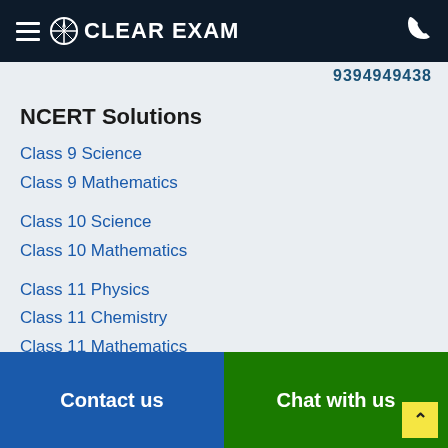CLEAR EXAM
9394949438
NCERT Solutions
Class 9 Science
Class 9 Mathematics
Class 10 Science
Class 10 Mathematics
Class 11 Physics
Class 11 Chemistry
Class 11 Mathematics
Class 11 Biology
Class 12 Physics
Contact us | Chat with us